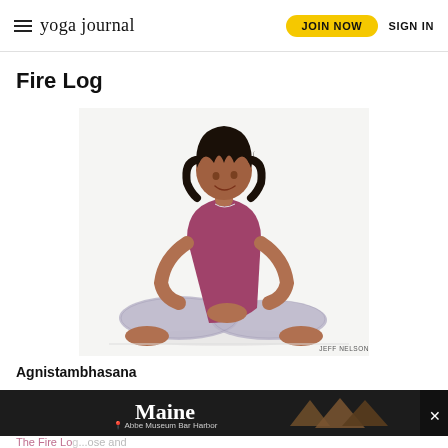≡ yoga journal  JOIN NOW  SIGN IN
Fire Log
[Figure (photo): A woman with curly dark hair wearing a purple tank top and patterned leggings sits cross-legged in a yoga pose (Fire Log / Agnistambhasana) on a white background. Photo credit: JEFF NELSON]
JEFF NELSON
Agnistambhasana
[Figure (infographic): Advertisement banner for Maine / Abbe Museum Bar Harbor with arrowhead images on dark background]
The Fire Log pose...ose and